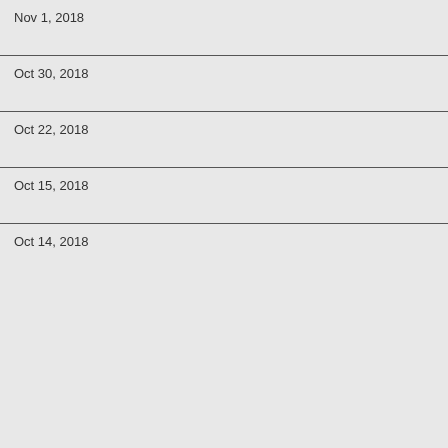Nov 1, 2018
Oct 30, 2018
Oct 22, 2018
Oct 15, 2018
Oct 14, 2018